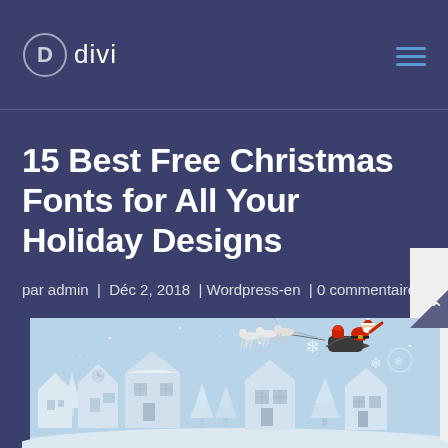Divi
15 Best Free Christmas Fonts for All Your Holiday Designs
par admin | Déc 2, 2018 | Wordpress-en | 0 commentaires
[Figure (illustration): Christmas winter scene illustration with Santa Claus in a sleigh pulled by reindeer flying over a snowy village with white paper-cut style houses and trees on a light blue background]